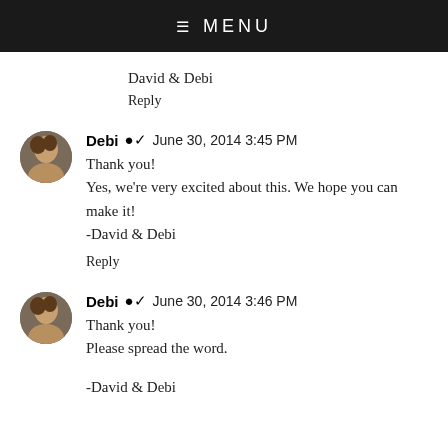≡ MENU
David & Debi
Reply
Debi ✔ June 30, 2014 3:45 PM
Thank you!
Yes, we're very excited about this. We hope you can make it!
-David & Debi
Reply
Debi ✔ June 30, 2014 3:46 PM
Thank you!
Please spread the word.
-David & Debi